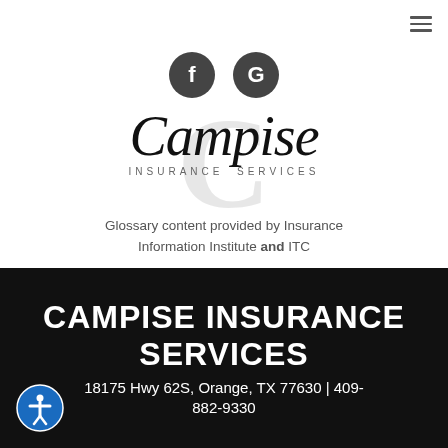[Figure (logo): Campise Insurance Services logo with stylized script 'Campise' text and large C background letter, with Facebook and Google social media icons above]
Glossary content provided by Insurance Information Institute and ITC
CAMPISE INSURANCE SERVICES
18175 Hwy 62S, Orange, TX 77630 | 409-882-9330